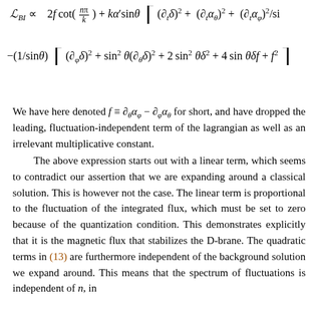We have here denoted f ≡ ∂_θ α_φ − ∂_φ α_θ for short, and have dropped the leading, fluctuation-independent term of the lagrangian as well as an irrelevant multiplicative constant.
The above expression starts out with a linear term, which seems to contradict our assertion that we are expanding around a classical solution. This is however not the case. The linear term is proportional to the fluctuation of the integrated flux, which must be set to zero because of the quantization condition. This demonstrates explicitly that it is the magnetic flux that stabilizes the D-brane. The quadratic terms in (13) are furthermore independent of the background solution we expand around. This means that the spectrum of fluctuations is independent of n, in